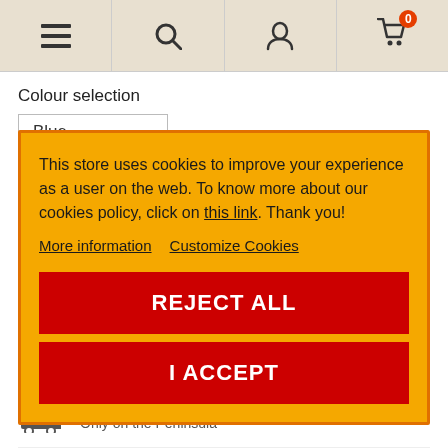[Figure (screenshot): E-commerce website navigation bar with hamburger menu, search icon, user icon, and cart icon with badge showing 0]
Colour selection
Blue
This store uses cookies to improve your experience as a user on the web. To know more about our cookies policy, click on this link. Thank you!
More information   Customize Cookies
REJECT ALL
I ACCEPT
Secure payment
Safe purchase guarantee
Free shipping from €50
Only on the Peninsula